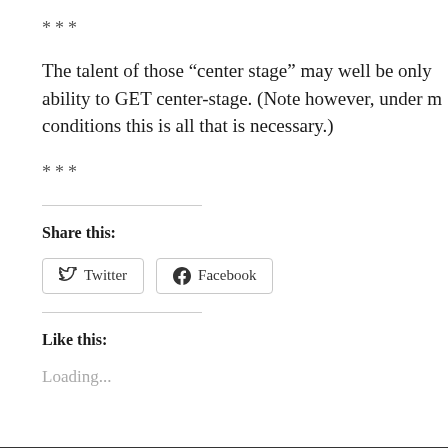***
The talent of those “center stage” may well be only ability to GET center-stage. (Note however, under m conditions this is all that is necessary.)
***
Share this:
Twitter
Facebook
Like this:
Loading...